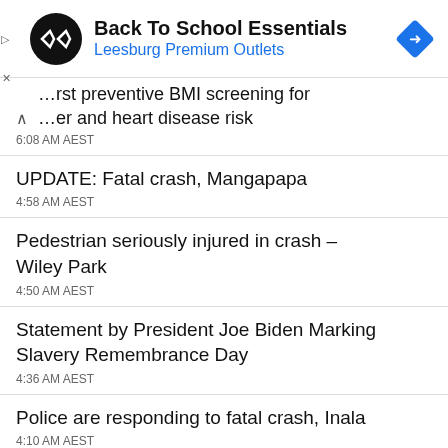[Figure (infographic): Advertisement banner for Back To School Essentials at Leesburg Premium Outlets, with a circular black logo with double arrow symbol and a blue diamond navigation icon on the right.]
…rst preventive BMI screening for …er and heart disease risk
6:08 AM AEST
UPDATE: Fatal crash, Mangapapa
4:58 AM AEST
Pedestrian seriously injured in crash – Wiley Park
4:50 AM AEST
Statement by President Joe Biden Marking Slavery Remembrance Day
4:36 AM AEST
Police are responding to fatal crash, Inala
4:10 AM AEST